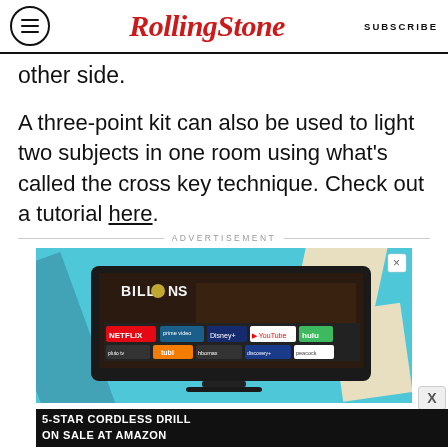RollingStone | SUBSCRIBE
other side.
A three-point kit can also be used to light two subjects in one room using what's called the cross key technique. Check out a tutorial here.
ADVERTISEMENT
[Figure (screenshot): Advertisement showing an Amazon Fire TV with streaming app logos including Netflix, prime video, Disney+, YouTube, hulu, pluto tv, tubi, hbomax, discovery+, peacock. Show 'Billions' displayed on screen.]
[Figure (infographic): Bottom banner ad: '5-STAR CORDLESS DRILL ON SALE AT AMAZON' with SPY logo on yellow background]